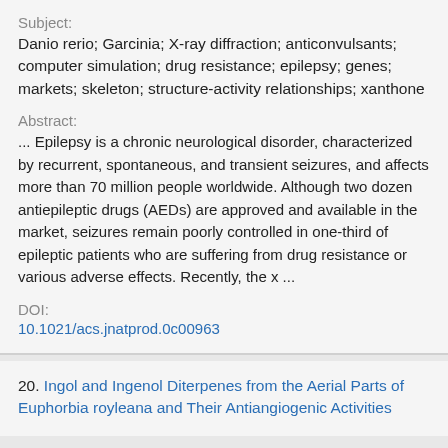Subject:
Danio rerio; Garcinia; X-ray diffraction; anticonvulsants; computer simulation; drug resistance; epilepsy; genes; markets; skeleton; structure-activity relationships; xanthone
Abstract:
... Epilepsy is a chronic neurological disorder, characterized by recurrent, spontaneous, and transient seizures, and affects more than 70 million people worldwide. Although two dozen antiepileptic drugs (AEDs) are approved and available in the market, seizures remain poorly controlled in one-third of epileptic patients who are suffering from drug resistance or various adverse effects. Recently, the x ...
DOI:
10.1021/acs.jnatprod.0c00963
20. Ingol and Ingenol Diterpenes from the Aerial Parts of Euphorbia royleana and Their Antiangiogenic Activities